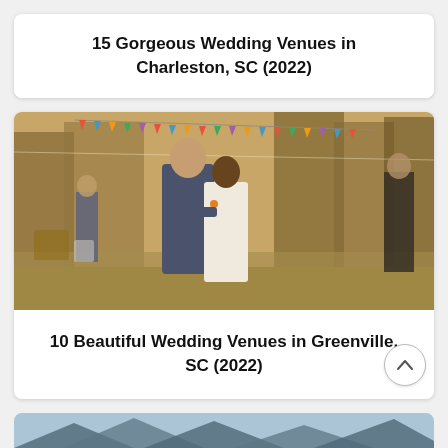15 Gorgeous Wedding Venues in Charleston, SC (2022)
[Figure (photo): A couple embracing at an outdoor wedding venue with string lights and colorful bunting flags in trees, golden hour lighting, guests in background]
10 Beautiful Wedding Venues in Greenville, SC (2022)
[Figure (photo): Partial view of a couple at an outdoor wedding venue with mountains and water in background, cropped at bottom of page]